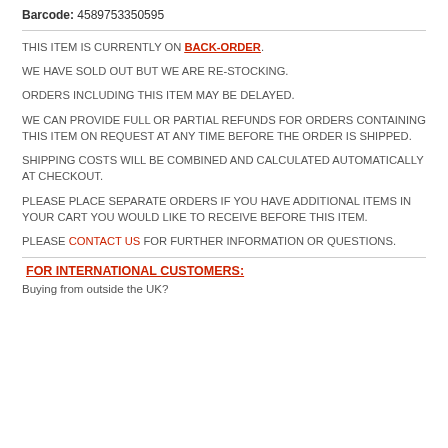Barcode: 4589753350595
THIS ITEM IS CURRENTLY ON BACK-ORDER.
WE HAVE SOLD OUT BUT WE ARE RE-STOCKING.
ORDERS INCLUDING THIS ITEM MAY BE DELAYED.
WE CAN PROVIDE FULL OR PARTIAL REFUNDS FOR ORDERS CONTAINING THIS ITEM ON REQUEST AT ANY TIME BEFORE THE ORDER IS SHIPPED.
SHIPPING COSTS WILL BE COMBINED AND CALCULATED AUTOMATICALLY AT CHECKOUT.
PLEASE PLACE SEPARATE ORDERS IF YOU HAVE ADDITIONAL ITEMS IN YOUR CART YOU WOULD LIKE TO RECEIVE BEFORE THIS ITEM.
PLEASE CONTACT US FOR FURTHER INFORMATION OR QUESTIONS.
FOR INTERNATIONAL CUSTOMERS:
Buying from outside the UK?